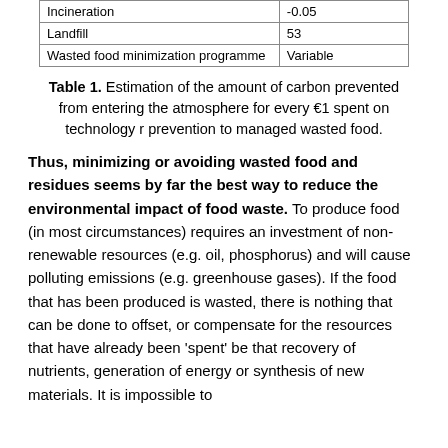| Incineration | -0.05 |
| Landfill | 53 |
| Wasted food minimization programme | Variable |
Table 1. Estimation of the amount of carbon prevented from entering the atmosphere for every €1 spent on technology r prevention to managed wasted food.
Thus, minimizing or avoiding wasted food and residues seems by far the best way to reduce the environmental impact of food waste. To produce food (in most circumstances) requires an investment of non-renewable resources (e.g. oil, phosphorus) and will cause polluting emissions (e.g. greenhouse gases). If the food that has been produced is wasted, there is nothing that can be done to offset, or compensate for the resources that have already been 'spent' be that recovery of nutrients, generation of energy or synthesis of new materials. It is impossible to